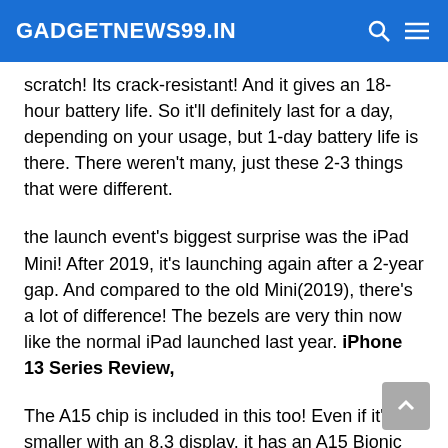GADGETNEWS99.IN
scratch! Its crack-resistant! And it gives an 18-hour battery life. So it'll definitely last for a day, depending on your usage, but 1-day battery life is there. There weren't many, just these 2-3 things that were different.
the launch event's biggest surprise was the iPad Mini! After 2019, it's launching again after a 2-year gap. And compared to the old Mini(2019), there's a lot of difference! The bezels are very thin now like the normal iPad launched last year. iPhone 13 Series Review,
The A15 chip is included in this too! Even if it's smaller with an 8.3 display, it has an A15 Bionic chip. So, I'd say it's the fastest & the most powerful iPad yet. You